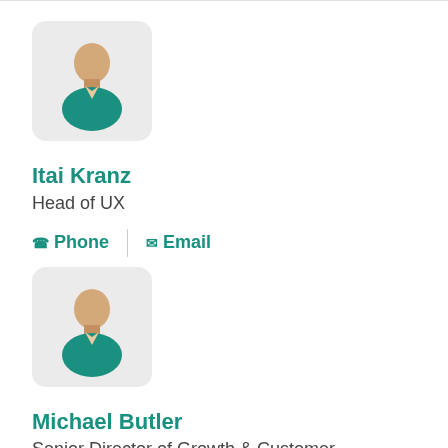[Figure (illustration): Generic user avatar icon with teal shirt and light skin, on a light grey rounded rectangle background]
Itai Kranz
Head of UX
Phone | Email
[Figure (illustration): Generic user avatar icon with teal shirt and light skin, on a light grey rounded rectangle background]
Michael Butler
Senior Director of Growth & Customer Acquisition Marketing
Phone | Email